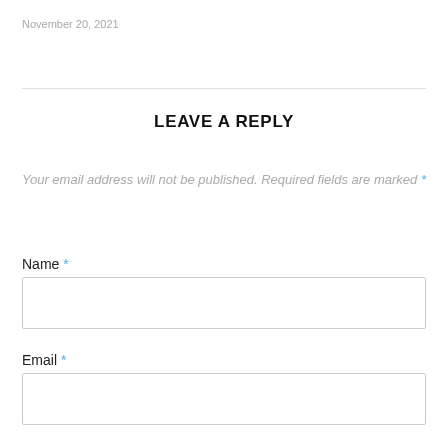November 20, 2021
LEAVE A REPLY
Your email address will not be published. Required fields are marked *
Name *
Email *